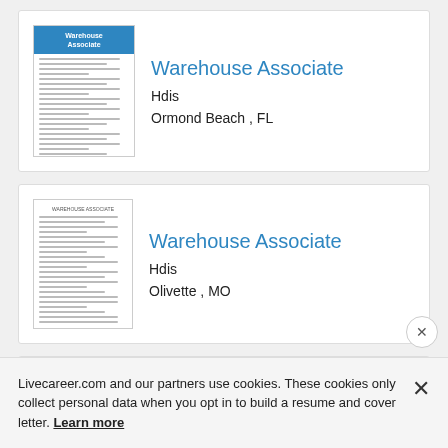[Figure (screenshot): Thumbnail of Warehouse Associate resume with blue header]
Warehouse Associate
Hdis
Ormond Beach , FL
[Figure (screenshot): Thumbnail of Warehouse Associate resume plain white]
Warehouse Associate
Hdis
Olivette , MO
[Figure (screenshot): Thumbnail of Associate II Warehouse resume with teal sidebar letters]
Associate II Warehouse
Telamon
Edmond , OK
Livecareer.com and our partners use cookies. These cookies only collect personal data when you opt in to build a resume and cover letter. Learn more